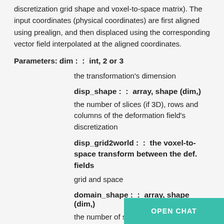discretization grid shape and voxel-to-space matrix). The input coordinates (physical coordinates) are first aligned using prealign, and then displaced using the corresponding vector field interpolated at the aligned coordinates.
Parameters: dim :  :  int, 2 or 3
the transformation's dimension
disp_shape :  :  array, shape (dim,)
the number of slices (if 3D), rows and columns of the deformation field's discretization
disp_grid2world :  :  the voxel-to-space transform between the def. fields
grid and space
domain_shape :  :  array, shape (dim,)
the number of slices (if 3D), rows and columns of the default discretizatio of this